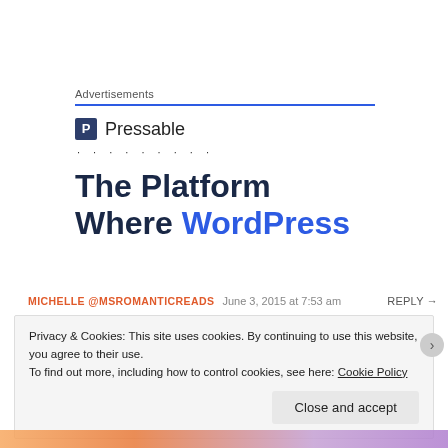Advertisements
[Figure (logo): Pressable logo with icon and name, followed by dots and ad headline 'The Platform Where WordPress' with WordPress in blue]
MICHELLE @MSROMANTICREADS   June 3, 2015 at 7:53 am   REPLY →
Privacy & Cookies: This site uses cookies. By continuing to use this website, you agree to their use.
To find out more, including how to control cookies, see here: Cookie Policy
Close and accept